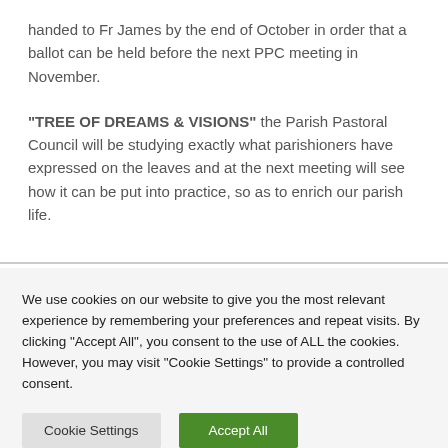handed to Fr James by the end of October in order that a ballot can be held before the next PPC meeting in November.
"TREE OF DREAMS & VISIONS" the Parish Pastoral Council will be studying exactly what parishioners have expressed on the leaves and at the next meeting will see how it can be put into practice, so as to enrich our parish life.
We use cookies on our website to give you the most relevant experience by remembering your preferences and repeat visits. By clicking "Accept All", you consent to the use of ALL the cookies. However, you may visit "Cookie Settings" to provide a controlled consent.